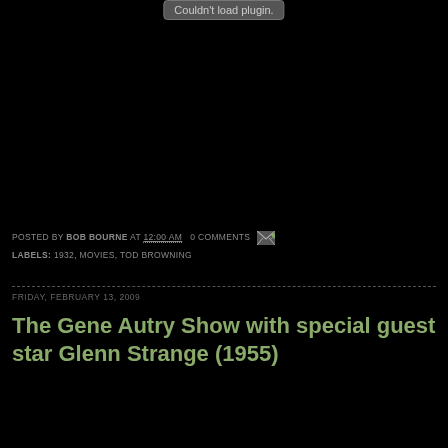[Figure (other): Plugin placeholder showing 'Couldn't load plugin.' in a gray rounded box, over a black video/media area]
POSTED BY BOB BOURNE AT 12:00 AM   0 COMMENTS
LABELS: 1932, MOVIES, TOD BROWNING
FRIDAY, FEBRUARY 13, 2009
The Gene Autry Show with special guest star Glenn Strange (1955)